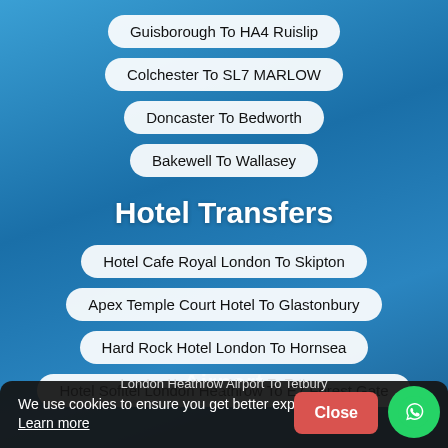Guisborough To HA4 Ruislip
Colchester To SL7 MARLOW
Doncaster To Bedworth
Bakewell To Wallasey
Hotel Transfers
Hotel Cafe Royal London To Skipton
Apex Temple Court Hotel To Glastonbury
Hard Rock Hotel London To Hornsea
Hotel Sofitel London Heathrow To E7 Forest Gate
We use cookies to ensure you get better experience Learn more
Close
London Heathrow Airport To Tetbury